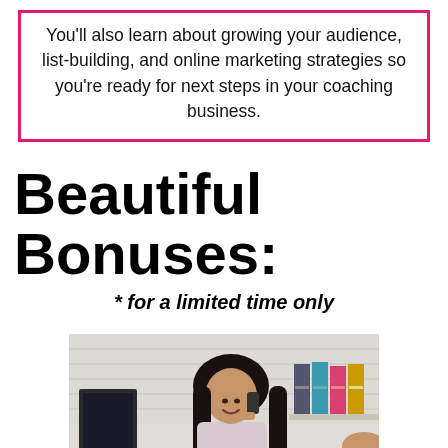You'll also learn about growing your audience, list-building, and online marketing strategies so you're ready for next steps in your coaching business.
Beautiful Bonuses:
* for a limited time only
[Figure (photo): A smiling woman with dark hair talking on the phone at a desk with a computer monitor, and colorful binders visible in the background.]